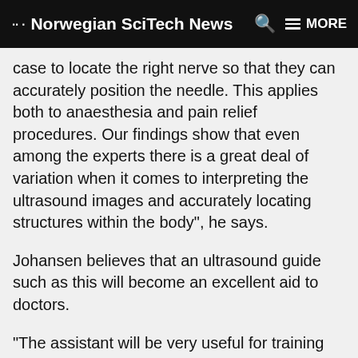Norwegian SciTech News
case to locate the right nerve so that they can accurately position the needle. This applies both to anaesthesia and pain relief procedures. Our findings show that even among the experts there is a great deal of variation when it comes to interpreting the ultrasound images and accurately locating structures within the body", he says.
Johansen believes that an ultrasound guide such as this will become an excellent aid to doctors.
“The assistant will be very useful for training doctors in the interpretation of ultrasound images", he says. “Anatomical landmarks such as blood vessels and membranes are key aids in identifying ultrasound-guided nerve blocks. If you can spot these on the ultrasound image, it becomes easier to localise the